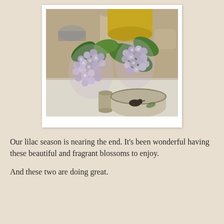[Figure (photo): A photograph of lilac blossoms with purple-white flowers and green leaves arranged in ceramic vases and bowls on a white wooden shelf. In the background are pottery vessels including a yellow glazed piece. In the foreground is a bowl with a bird illustration.]
Our lilac season is nearing the end. It's been wonderful having these beautiful and fragrant blossoms to enjoy.
And these two are doing great.